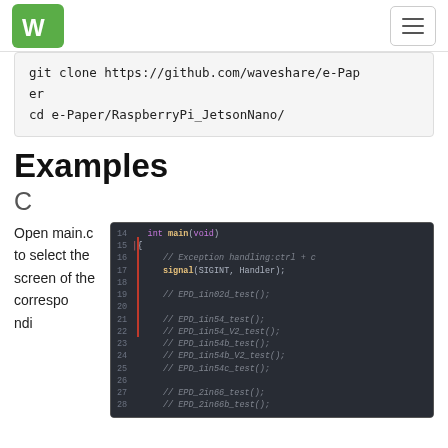Waveshare logo and navigation menu
git clone https://github.com/waveshare/e-Paper
cd e-Paper/RaspberryPi_JetsonNano/
Examples
C
Open main.c to select the screen of the correspo...
[Figure (screenshot): Code editor screenshot showing C code lines 14-28 with int main(void), signal(SIGINT, Handler), and commented EPD test function calls in a dark-themed IDE]